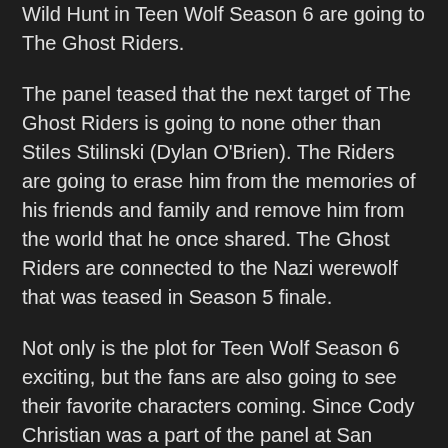Wild Hunt in Teen Wolf Season 6 are going to The Ghost Riders.
The panel teased that the next target of The Ghost Riders is going to none other than Stiles Stilinski (Dylan O'Brien). The Riders are going to erase him from the memories of his friends and family and remove him from the world that he once shared. The Ghost Riders are connected to the Nazi werewolf that was teased in Season 5 finale.
Not only is the plot for Teen Wolf Season 6 exciting, but the fans are also going to see their favorite characters coming. Since Cody Christian was a part of the panel at San Diego Comic-Con, the fans are sure that Theo Raeken is going to be back in Season 6. The second half of Season 5 had seen Theo being dragged into hell by his sister, whom he left to die.
It looked like a fitting end to the character of the